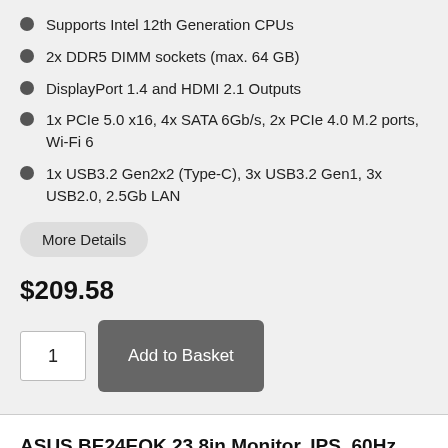Supports Intel 12th Generation CPUs
2x DDR5 DIMM sockets (max. 64 GB)
DisplayPort 1.4 and HDMI 2.1 Outputs
1x PCIe 5.0 x16, 4x SATA 6Gb/s, 2x PCIe 4.0 M.2 ports, Wi-Fi 6
1x USB3.2 Gen2x2 (Type-C), 3x USB3.2 Gen1, 3x USB2.0, 2.5Gb LAN
More Details
$209.58
1
Add to Basket
ASUS BE24EQK 23.8in Monitor, IPS, 60Hz, 1920x1080, Webcam, HDMI/DP/USB
2 in stock. Ships today if ordered within 2h 4m.